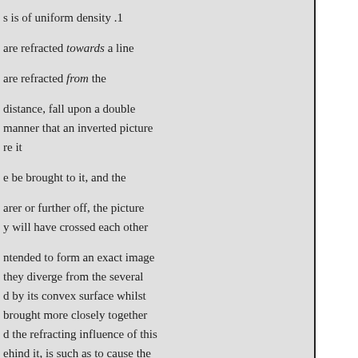s is of uniform density .1
are refracted towards a line
are refracted from the
distance, fall upon a double manner that an inverted picture re it
e be brought to it, and the
arer or further off, the picture y will have crossed each other
ntended to form an exact image they diverge from the several d by its convex surface whilst brought more closely together d the refracting influence of this ehind it, is such as to cause the a complete inverted inage is e of the rays in its interior. The